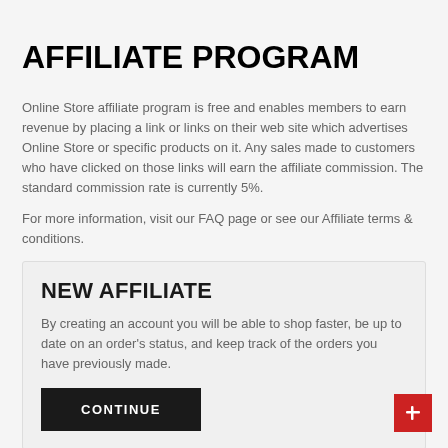AFFILIATE PROGRAM
Online Store affiliate program is free and enables members to earn revenue by placing a link or links on their web site which advertises Online Store or specific products on it. Any sales made to customers who have clicked on those links will earn the affiliate commission. The standard commission rate is currently 5%.
For more information, visit our FAQ page or see our Affiliate terms & conditions.
NEW AFFILIATE
By creating an account you will be able to shop faster, be up to date on an order's status, and keep track of the orders you have previously made.
CONTINUE